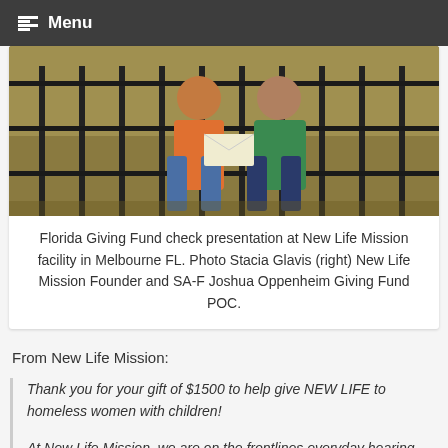Menu
[Figure (photo): Two people standing in front of a black iron fence gate, one in an orange shirt and one in a green shirt, exchanging what appears to be a check or document.]
Florida Giving Fund check presentation at New Life Mission facility in Melbourne FL. Photo Stacia Glavis (right) New Life Mission Founder and SA-F Joshua Oppenheim Giving Fund POC.
From New Life Mission:
Thank you for your gift of $1500 to help give NEW LIFE to homeless women with children!
At New Life Mission, we are on the frontlines everyday hearing from moms and their children who are experiencing homelessness. The need is growing here in Brevard County by the day! Moms and children are living in motels due to